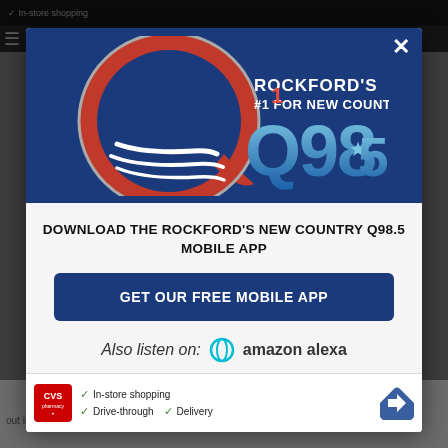[Figure (screenshot): Background webpage partially visible behind modal overlay]
[Figure (logo): Q98.5 radio station logo — large red letter Q with white swoosh lines, text reading ROCKFORD'S #1 FOR NEW COUNTRY Q98.5 on blue background]
DOWNLOAD THE ROCKFORD'S NEW COUNTRY Q98.5 MOBILE APP
GET OUR FREE MOBILE APP
Also listen on:  amazon alexa
[Figure (screenshot): CVS Pharmacy advertisement banner showing In-store shopping, Drive-through, and Delivery options with navigation arrow icon]